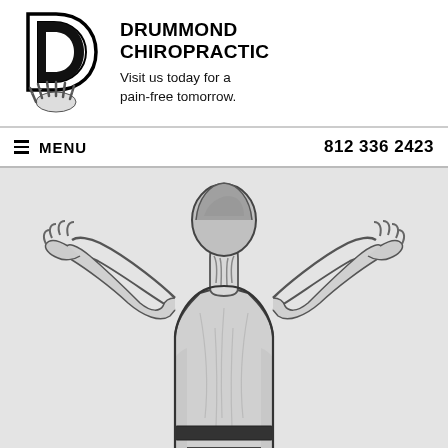[Figure (logo): Drummond Chiropractic logo: a stylized letter D with a hand/fingers at the bottom]
DRUMMOND CHIROPRACTIC
Visit us today for a pain-free tomorrow.
≡ MENU   812 336 2423
[Figure (illustration): Grayscale sketch illustration of a person viewed from behind, arms raised with hands clasped behind their head, wearing a sleeveless top]